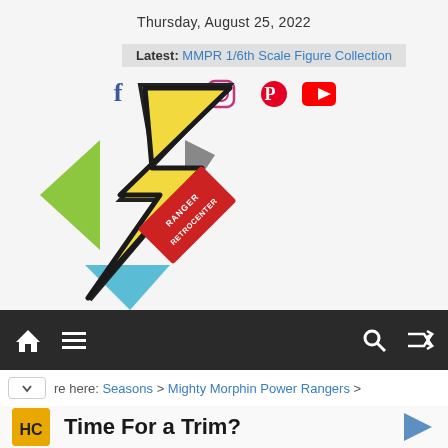Thursday, August 25, 2022
Latest: MMPR 1/6th Scale Figure Collection
[Figure (logo): Ranger Retrocenter logo: yellow lightning bolt with colorful diamond shapes and red banner reading RANGER RETROCENTER]
Navigation bar with home, menu, search, and shuffle icons
You are here: Seasons > Mighty Morphin Power Rangers >
Time For a Trim?